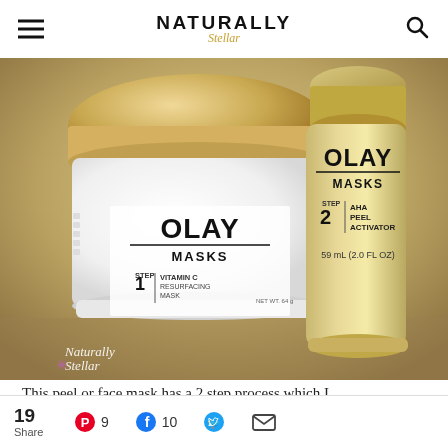NATURALLY Stellar
[Figure (photo): Two Olay Masks products on a surface: a white jar labeled 'OLAY MASKS STEP 1 VITAMIN C RESURFACING MASK' and a gold bottle labeled 'OLAY MASKS STEP 2 AHA PEEL ACTIVATOR 59 mL (2.0 FL OZ)'. Naturally Stellar watermark in lower left.]
This peel or face mask has a 2 step process which I
19 Share  Pinterest 9  Facebook 10  Twitter  Email